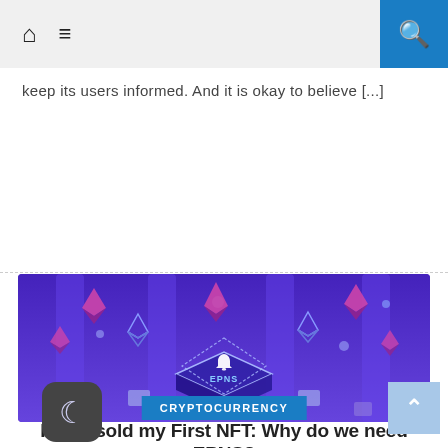Home | Menu | Search
keep its users informed. And it is okay to believe [...]
[Figure (illustration): Isometric illustration of Ethereum cryptocurrency and EPNS notification chip on a purple/violet background with glowing columns and diamond shapes]
CRYPTOCURRENCY
How I sold my First NFT: Why do we need EPNS?